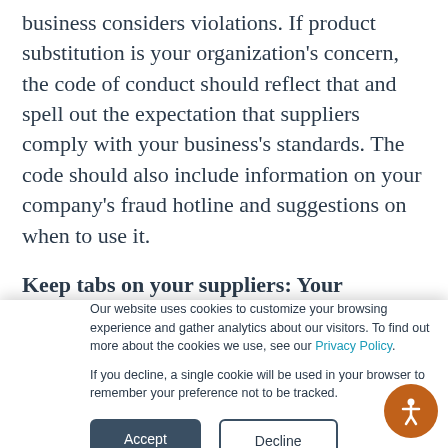business considers violations. If product substitution is your organization's concern, the code of conduct should reflect that and spell out the expectation that suppliers comply with your business's standards. The code should also include information on your company's fraud hotline and suggestions on when to use it.
Keep tabs on your suppliers: Your enterprise's
Our website uses cookies to customize your browsing experience and gather analytics about our visitors. To find out more about the cookies we use, see our Privacy Policy.

If you decline, a single cookie will be used in your browser to remember your preference not to be tracked.
[Figure (other): Accept and Decline cookie consent buttons, and an accessibility icon button (orange circle with person figure)]